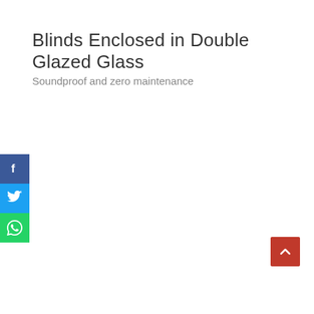Blinds Enclosed in Double Glazed Glass
Soundproof and zero maintenance
[Figure (infographic): Social media share buttons: Facebook (blue), Twitter (light blue), WhatsApp (green), stacked vertically on the left side of the page]
[Figure (other): Red scroll-to-top button with upward chevron arrow, positioned bottom-right]